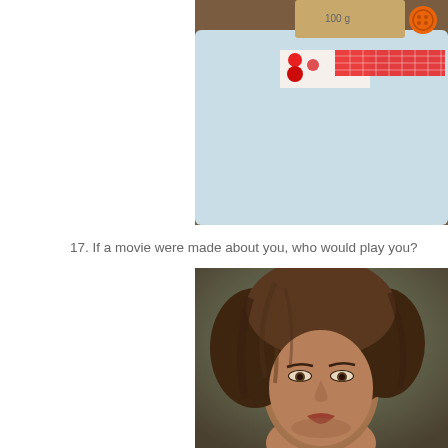[Figure (photo): Close-up photo of a handmade fabric item (pouch or book) with light blue fleece, red heart-patterned fabric strip, red gingham ribbon, a kraft tag, and an orange button on a brown background.]
17. If a movie were made about you, who would play you?
[Figure (photo): Close-up portrait photo of a woman with voluminous dark brown hair, looking directly at the camera with a neutral expression against a blurred background.]